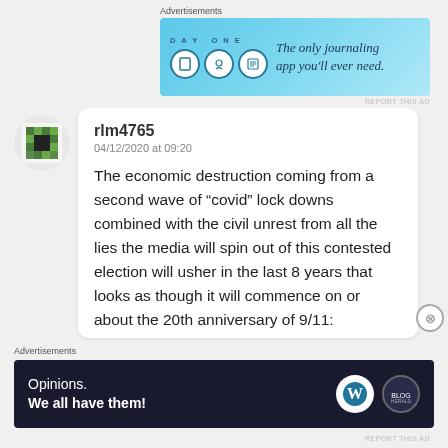[Figure (other): Top advertisement banner for DayOne journaling app with light blue background showing app icons and tagline]
[Figure (other): User avatar - circular profile image with green/yellow pixel art grid pattern]
rlm4765
04/12/2020 at 09:20

The economic destruction coming from a second wave of “covid” lock downs combined with the civil unrest from all the lies the media will spin out of this contested election will usher in the last 8 years that looks as though it will commence on or about the 20th anniversary of 9/11:
[Figure (other): Bottom advertisement banner with dark background showing WordPress and another logo with text 'Opinions. We all have them!']